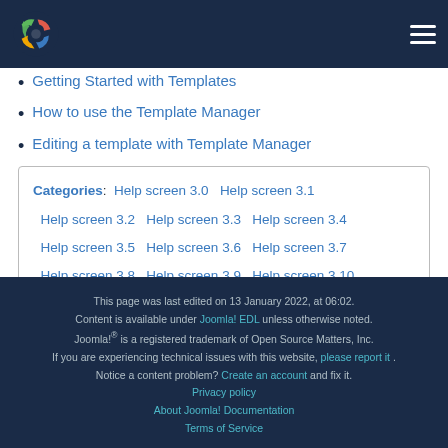Joomla! Documentation
Getting Started with Templates
How to use the Template Manager
Editing a template with Template Manager
Categories: Help screen 3.0  Help screen 3.1  Help screen 3.2  Help screen 3.3  Help screen 3.4  Help screen 3.5  Help screen 3.6  Help screen 3.7  Help screen 3.8  Help screen 3.9  Help screen 3.10  Template Manager Help Screens  Styles Help Screens
This page was last edited on 13 January 2022, at 06:02. Content is available under Joomla! EDL unless otherwise noted. Joomla!® is a registered trademark of Open Source Matters, Inc. If you are experiencing technical issues with this website, please report it . Notice a content problem? Create an account and fix it. Privacy policy About Joomla! Documentation Terms of Service